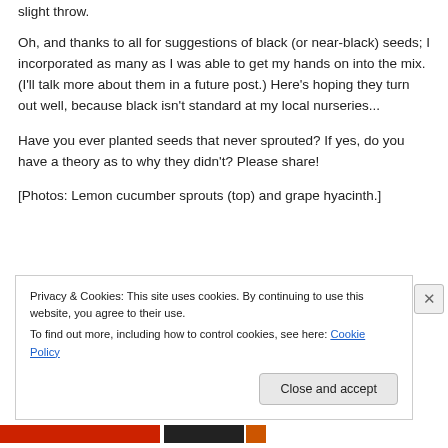slight throw.
Oh, and thanks to all for suggestions of black (or near-black) seeds; I incorporated as many as I was able to get my hands on into the mix. (I'll talk more about them in a future post.) Here's hoping they turn out well, because black isn't standard at my local nurseries...
Have you ever planted seeds that never sprouted? If yes, do you have a theory as to why they didn't? Please share!
[Photos: Lemon cucumber sprouts (top) and grape hyacinth.]
Privacy & Cookies: This site uses cookies. By continuing to use this website, you agree to their use.
To find out more, including how to control cookies, see here: Cookie Policy